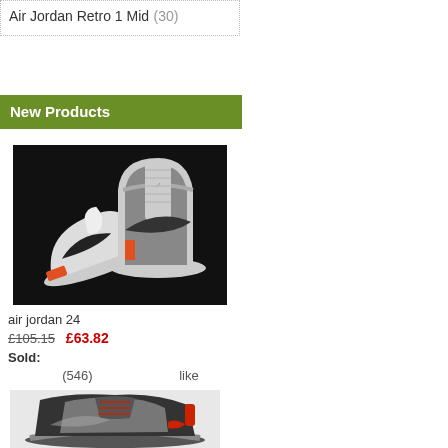Air Jordan Retro 1 Mid (30)
New Products
[Figure (photo): Air Jordan 24 sneakers — two shoes on black background, one upright and one tilted, with orange accents and white Nike swoosh]
air jordan 24
£105.15  £63.82
Sold:
(546)  like
[Figure (photo): Air Jordan 6 sneaker on light grey background, black and grey with red accents, side profile view]